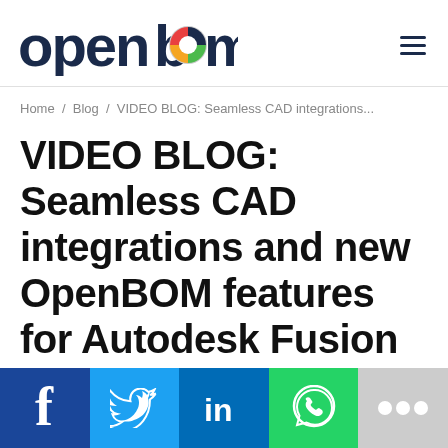openbom [logo with hamburger menu]
Home / Blog / VIDEO BLOG: Seamless CAD integrations...
VIDEO BLOG: Seamless CAD integrations and new OpenBOM features for Autodesk Fusion 360
[Figure (infographic): Social sharing bar with Facebook, Twitter, LinkedIn, WhatsApp, and more buttons]